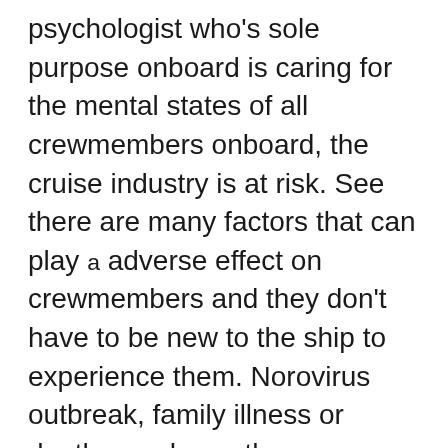psychologist who's sole purpose onboard is caring for the mental states of all crewmembers onboard, the cruise industry is at risk. See there are many factors that can play a adverse effect on crewmembers and they don't have to be new to the ship to experience them. Norovirus outbreak, family illness or death, rough weather, shipboard emergency, bad roommate, horrible new boss, stealing, cheating, disciplinary action, workplace stress, loneliness, alcohol, weight gain/loss, are just a few of the situations that can occur onboard a ship that can throw a crewmember's mental state off balance and cause them to behave irrationally or become dangerous to either themselves or others.